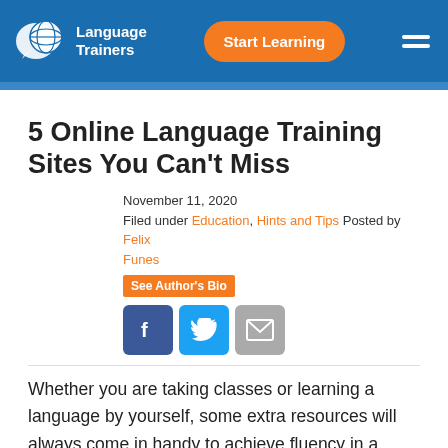Language Trainers | Start Learning
5 Online Language Training Sites You Can't Miss
November 11, 2020
Filed under Education, Hints and Tips Posted by Felix Funes
See Author's Bio
[Figure (other): Social share buttons: Facebook, Twitter, Email]
Whether you are taking classes or learning a language by yourself, some extra resources will always come in handy to achieve fluency in a short time. Audio recordings, videos, texts, and exercises to practise grammar and vocabulary are all necessary to consolidate your language skills. To help you with this, we have compiled the 5 best online language training sites. They